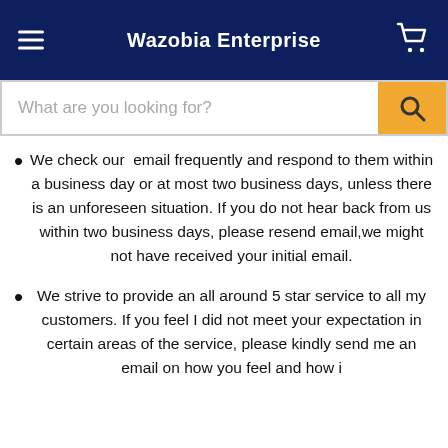Wazobia Enterprise
What are you looking for?
We check our email frequently and respond to them within a business day or at most two business days, unless there is an unforeseen situation. If you do not hear back from us within two business days, please resend email,we might not have received your initial email.
We strive to provide an all around 5 star service to all my customers. If you feel I did not meet your expectation in certain areas of the service, please kindly send me an email on how you feel and how i